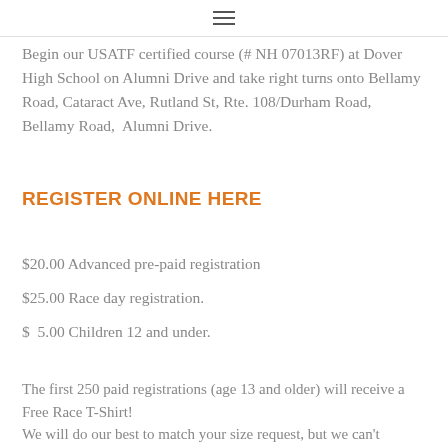≡
Begin our USATF certified course (# NH 07013RF) at Dover High School on Alumni Drive and take right turns onto Bellamy Road, Cataract Ave, Rutland St, Rte. 108/Durham Road, Bellamy Road,  Alumni Drive.
REGISTER ONLINE HERE
$20.00 Advanced pre-paid registration
$25.00 Race day registration.
$  5.00 Children 12 and under.
The first 250 paid registrations (age 13 and older) will receive a Free Race T-Shirt!
We will do our best to match your size request, but we can't